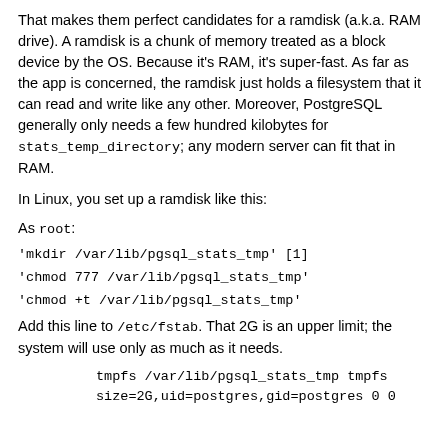That makes them perfect candidates for a ramdisk (a.k.a. RAM drive). A ramdisk is a chunk of memory treated as a block device by the OS. Because it's RAM, it's super-fast. As far as the app is concerned, the ramdisk just holds a filesystem that it can read and write like any other. Moreover, PostgreSQL generally only needs a few hundred kilobytes for stats_temp_directory; any modern server can fit that in RAM.
In Linux, you set up a ramdisk like this:
As root:
'mkdir /var/lib/pgsql_stats_tmp' [1]
'chmod 777 /var/lib/pgsql_stats_tmp'
'chmod +t /var/lib/pgsql_stats_tmp'
Add this line to /etc/fstab. That 2G is an upper limit; the system will use only as much as it needs.
tmpfs /var/lib/pgsql_stats_tmp tmpfs
size=2G,uid=postgres,gid=postgres 0 0